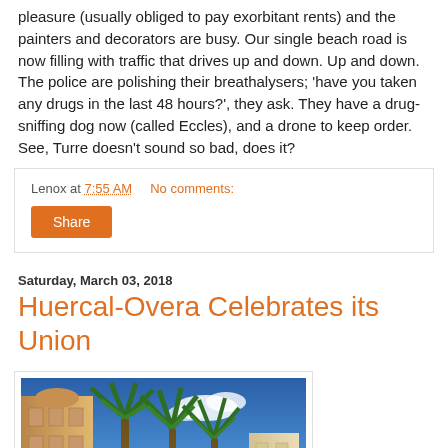pleasure (usually obliged to pay exorbitant rents) and the painters and decorators are busy. Our single beach road is now filling with traffic that drives up and down. Up and down. The police are polishing their breathalysers; 'have you taken any drugs in the last 48 hours?', they ask. They have a drug-sniffing dog now (called Eccles), and a drone to keep order. See, Turre doesn't sound so bad, does it?
Lenox at 7:55 AM   No comments:
Share
Saturday, March 03, 2018
Huercal-Overa Celebrates its Union
[Figure (photo): Photo of palm trees and a historic building against a blue sky with clouds, viewed from below]